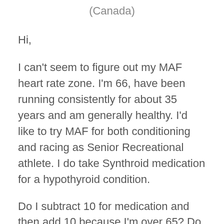(Canada)
Hi,
I can't seem to figure out my MAF heart rate zone. I'm 66, have been running consistently for about 35 years and am generally healthy. I'd like to try MAF for both conditioning and racing as Senior Recreational athlete. I do take Synthroid medication for a hypothyroid condition.
Do I subtract 10 for medication and then add 10 because I'm over 65? Do I add on 5 moore for being generally healthy, injury free? It seems confusing to me.
What do you think?